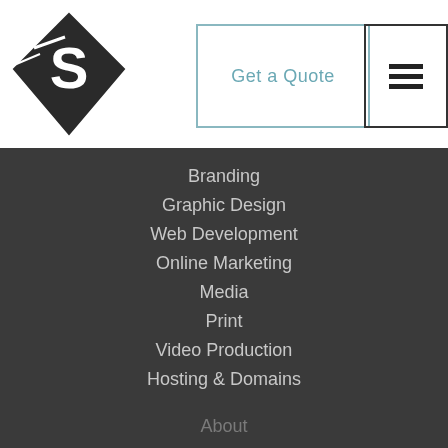[Figure (logo): Diamond-shaped logo with letter S inside, dark/black color]
Get a Quote
[Figure (other): Hamburger menu icon (three horizontal lines)]
Branding
Graphic Design
Web Development
Online Marketing
Media
Print
Video Production
Hosting & Domains
About
Our Vision
History
Local Commitment